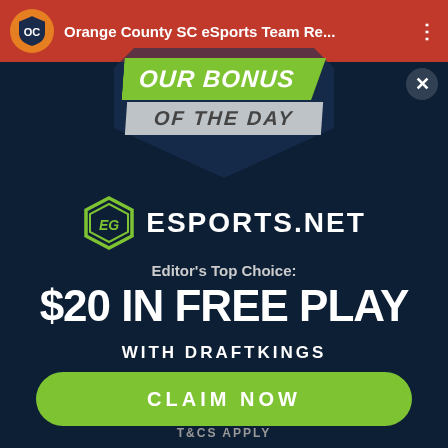[Figure (screenshot): Top browser bar with Orange County SC eSports Team video thumbnail and title, red/brown background, three-dot menu icon]
[Figure (infographic): OUR BONUS OF THE DAY ribbon banner - green ribbon with italic uppercase text 'OUR BONUS' and silver ribbon with 'OF THE DAY', with background shield/crest shape]
[Figure (logo): ESPORTS.NET logo with green hexagonal icon on the left and bold uppercase text ESPORTS.NET on the right]
Editor's Top Choice:
$20 IN FREE PLAY
WITH DRAFTKINGS
CLAIM NOW
T&CS APPLY